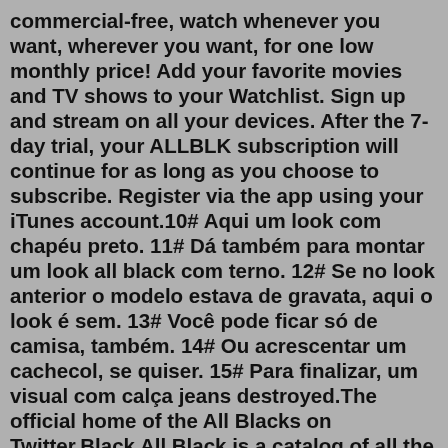commercial-free, watch whenever you want, wherever you want, for one low monthly price! Add your favorite movies and TV shows to your Watchlist. Sign up and stream on all your devices. After the 7-day trial, your ALLBLK subscription will continue for as long as you choose to subscribe. Register via the app using your iTunes account.10# Aqui um look com chapéu preto. 11# Dá também para montar um look all black com terno. 12# Se no look anterior o modelo estava de gravata, aqui o look é sem. 13# Você pode ficar só de camisa, também. 14# Ou acrescentar um cachecol, se quiser. 15# Para finalizar, um visual com calça jeans destroyed.The official home of the All Blacks on Twitter.Black All Black is a catalog of all the black colored things we love. We hunt for quality, well designed stuff and share it with our community of black things lovers who we lovingly call B.A.B.ies.9 hours ago · Catch up on all the best bits from the featured match between South Canterbury and Thames Valley at Temuka Domain in the 2022 Bontio Heartland Championship 2022 HSBC N...